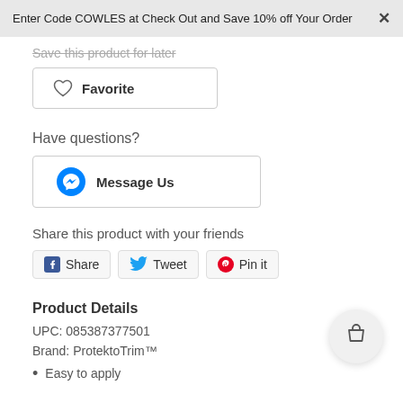Enter Code COWLES at Check Out and Save 10% off Your Order ×
Save this product for later
♡  Favorite
Have questions?
Message Us
Share this product with your friends
Share   Tweet   Pin it
Product Details
UPC: 085387377501
Brand: ProtektoTrim™
Easy to apply